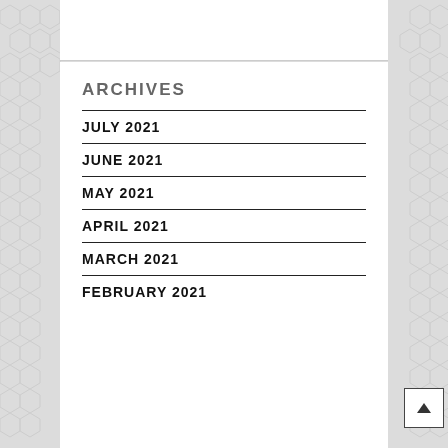ARCHIVES
JULY 2021
JUNE 2021
MAY 2021
APRIL 2021
MARCH 2021
FEBRUARY 2021